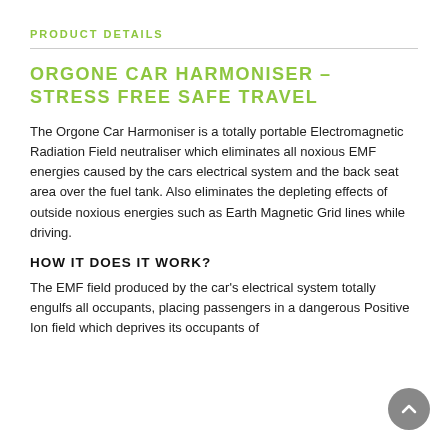PRODUCT DETAILS
ORGONE CAR HARMONISER – STRESS FREE SAFE TRAVEL
The Orgone Car Harmoniser is a totally portable Electromagnetic Radiation Field neutraliser which eliminates all noxious EMF energies caused by the cars electrical system and the back seat area over the fuel tank. Also eliminates the depleting effects of outside noxious energies such as Earth Magnetic Grid lines while driving.
HOW IT DOES IT WORK?
The EMF field produced by the car's electrical system totally engulfs all occupants, placing passengers in a dangerous Positive Ion field which deprives its occupants of